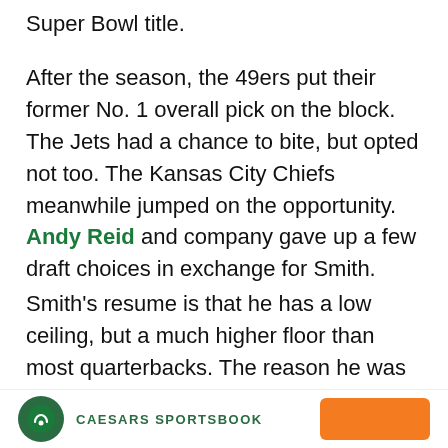Super Bowl title.
After the season, the 49ers put their former No. 1 overall pick on the block. The Jets had a chance to bite, but opted not too. The Kansas City Chiefs meanwhile jumped on the opportunity. Andy Reid and company gave up a few draft choices in exchange for Smith.
Smith's resume is that he has a low ceiling, but a much higher floor than most quarterbacks. The reason he was traded away from the 49ers is the same reason he's now back on the block for the Chiefs.
[Figure (logo): Caesars Sportsbook logo with circular green icon and orange button]